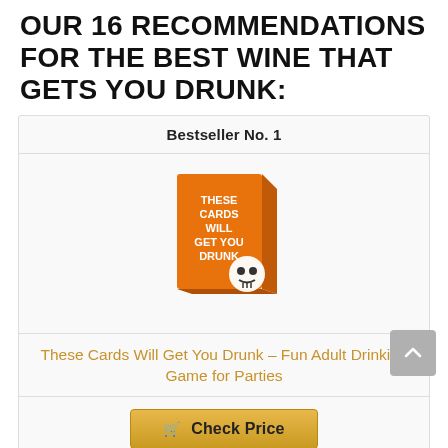OUR 16 RECOMMENDATIONS FOR THE BEST WINE THAT GETS YOU DRUNK:
Bestseller No. 1
[Figure (photo): Product image of 'These Cards Will Get You Drunk' card game box - orange box with white text and a cartoon skull]
These Cards Will Get You Drunk – Fun Adult Drinking Game for Parties
Check Price
Bestseller No. 2